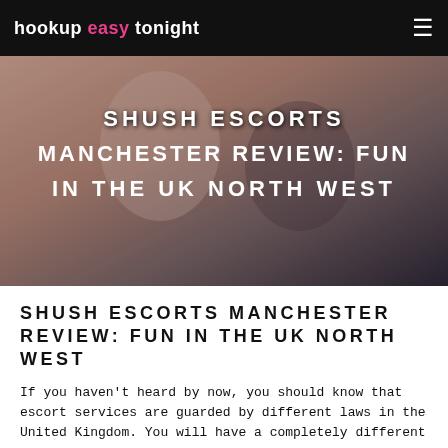hookup easy tonight
[Figure (photo): Couple lying together, blurred romantic scene used as hero background image]
SHUSH ESCORTS MANCHESTER REVIEW: FUN IN THE UK NORTH WEST
SHUSH ESCORTS MANCHESTER REVIEW: FUN IN THE UK NORTH WEST
If you haven’t heard by now, you should know that escort services are guarded by different laws in the United Kingdom. You will have a completely different